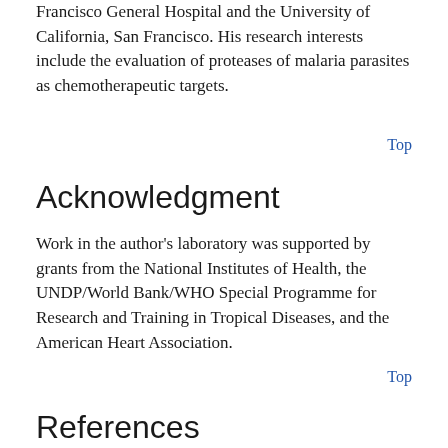Francisco General Hospital and the University of California, San Francisco. His research interests include the evaluation of proteases of malaria parasites as chemotherapeutic targets.
Top
Acknowledgment
Work in the author's laboratory was supported by grants from the National Institutes of Health, the UNDP/World Bank/WHO Special Programme for Research and Training in Tropical Diseases, and the American Heart Association.
Top
References